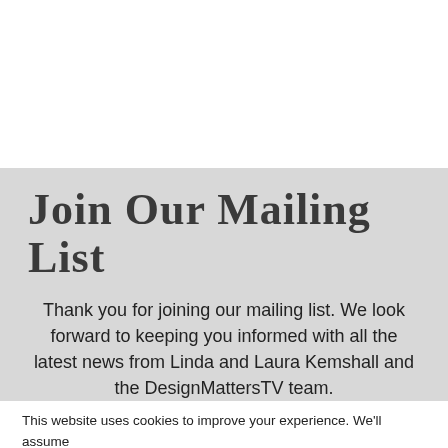Join Our Mailing List
Thank you for joining our mailing list. We look forward to keeping you informed with all the latest news from Linda and Laura Kemshall and the DesignMattersTV team.
This website uses cookies to improve your experience. We'll assume you're ok with this, but you can opt-out if you wish. Accept Read More